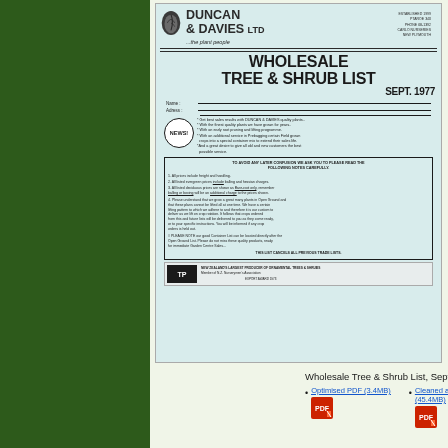[Figure (illustration): Green background panel with repeating teal fern leaf pattern arranged in a grid]
DUNCAN & DAVIES LTD ...the plant people
ESTABLISHED 1899 PHONE 340 PHONE 68-1392 CARLO NURSERIES NEW PLYMOUTH
WHOLESALE TREE & SHRUB LIST SEPT. 1977
Name: ___________________ Address: ___________________
NEWS * Get best sales results with DUNCAN & DAVIES quality plants. * With the finest quality plants we have grown for years. * With an early root pruning and lifting programme. * With an additional service in Prebagging certain Field grown crops into a special container mix to extend their sales life. *And a great desire to give all old and new customers the best possible service.
TO AVOID ANY LATER CONFUSION WE ASK YOU TO PLEASE READ THE FOLLOWING NOTES CAREFULLY. 1. All prices include freight and handling. 2. All listed evergreen prices include balling and hessian charges. 3. All listed deciduous prices are shown as Bare-root only, remember balling or boxing will be an additional charge to the prices shown. 4. Please understand that we grow a great many plants in Open Ground and that these plants cannot be lifted all at one time. We have a certain lifting pattern to which we adhere to and therefore it is our custom to deliver as we lift on crop rotation. It follows that crops ordered from this and future lists will be delivered to you as they come ready, or to your specific instructions. You will be informed if any crop ordered is held out.
# PLEASE NOTE our good Container List can be located directly after the Open Ground List. Please do not miss these quality products, ready for immediate Garden Centre Sales...
THIS LIST CANCELS ALL PREVIOUS TRADE LISTS.
NEW ZEALAND'S LARGEST PRODUCER OF ORNAMENTAL TREES & SHRUBS Member of N.Z. Nurserymen's Association
Wholesale Tree & Shrub List, September 1977
Optimised PDF (3.4MB)
Cleaned and corrected (45.4MB)